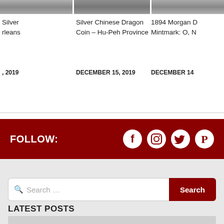[Figure (other): Three coin listing cards partially visible at top, showing coin images and titles: partially visible Silver coin from Orleans, Silver Chinese Dragon Coin – Hu-Peh Province (DECEMBER 15, 2019), and 1894 Morgan D with Mintmark: O, N partially visible (DECEMBER 14).]
Silver
rleans
Silver Chinese Dragon Coin – Hu-Peh Province
1894 Morgan D
Mintmark: O, N
, 2019
DECEMBER 15, 2019
DECEMBER 14
FOLLOW:
[Figure (other): Social media icons: Facebook, Instagram, Twitter, Pinterest — white on dark red background]
[Figure (other): Search bar with placeholder text 'Search ...' and a dark red Search button]
LATEST POSTS
[Figure (photo): Gray placeholder image for a latest post thumbnail]